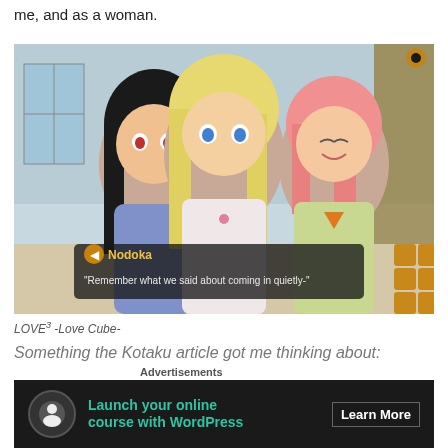me, and as a woman.
[Figure (screenshot): Visual novel screenshot showing three anime-style female characters - one with black hair in blue outfit, one with blonde hair in white outfit, and one with pink hair in green outfit. Dialog box at bottom shows character name 'Nodoka' with text 'Remember what we said about coming in quietly-']
LOVE³ -Love Cube-
Something the Kotaku article got me thinking about: while I acknowledge that most eroge are indeed aimed
[Figure (infographic): Advertisement banner: 'Launch your online course with WordPress' with Learn More button on dark background]